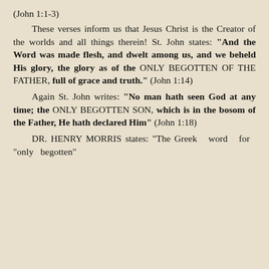(John 1:1-3)
These verses inform us that Jesus Christ is the Creator of the worlds and all things therein! St. John states: “And the Word was made flesh, and dwelt among us, and we beheld His glory, the glory as of the ONLY BEGOTTEN OF THE FATHER, full of grace and truth.” (John 1:14)
Again St. John writes: “No man hath seen God at any time; the ONLY BEGOTTEN SON, which is in the bosom of the Father, He hath declared Him” (John 1:18)
DR. HENRY MORRIS states: “The Greek word for “only begotten”